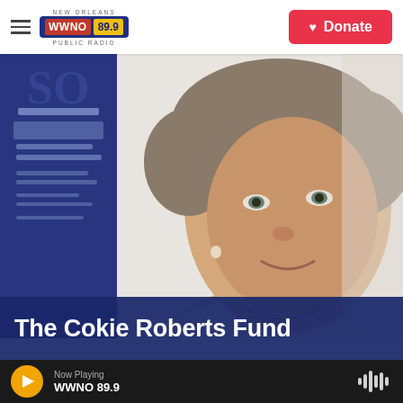[Figure (logo): WWNO 89.9 New Orleans Public Radio logo — dark blue badge with red WWNO text and yellow 89.9 frequency badge]
[Figure (other): Red Donate button with heart icon in top right of navigation bar]
[Figure (photo): Portrait photo of Cokie Roberts, a woman with short gray-brown hair, wearing a light blazer, looking to the right, with a blue banner/sign in the background]
The Cokie Roberts Fund
[Figure (other): Bottom audio player bar with yellow play button, Now Playing label, WWNO 89.9 station name, and audio waveform icon on the right]